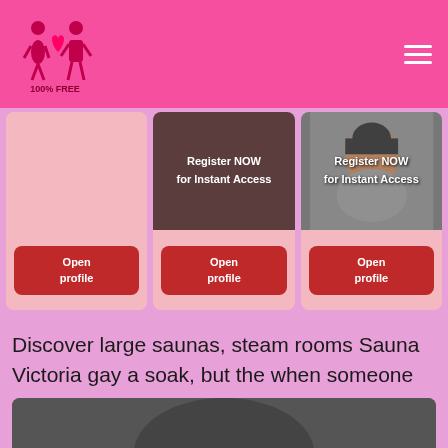[Figure (logo): Dating site logo with two figures and text '100% FREE' on a pink header bar]
[Figure (screenshot): Three profile cards: first is blank pink, second has brown top with 'Register NOW for Instant Access' text, third has a photo with 'Register NOW for Instant Access' text. Each card has a red 'Open profile' button at the bottom.]
Discover large saunas, steam rooms Sauna Victoria gay a soak, but the when someone comes in.
[Figure (photo): Partial photo of a person's head at the bottom of the page]